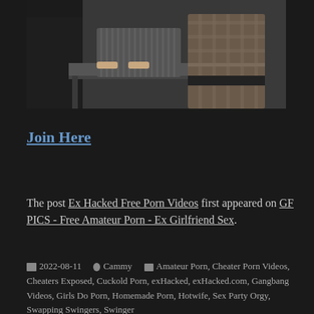[Figure (photo): Two people at a desk, one leaning over the desk and another behind them]
Join Here
The post Ex Hacked Free Porn Videos first appeared on GF PICS - Free Amateur Porn - Ex Girlfriend Sex.
2022-08-11   Cammy   Amateur Porn, Cheater Porn Videos, Cheaters Exposed, Cuckold Porn, exHacked, exHacked.com, Gangbang Videos, Girls Do Porn, Homemade Porn, Hotwife, Sex Party Orgy, Swapping Swingers, Swinger